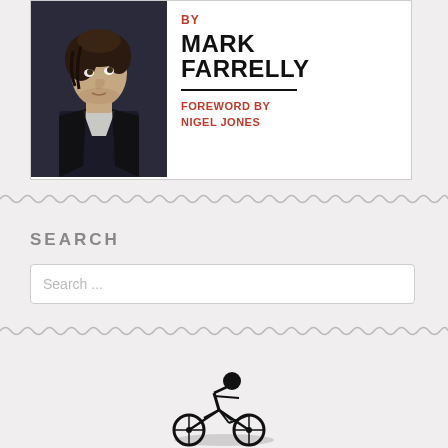[Figure (illustration): Book cover image showing a young man looking upward in black and white photo, with text 'BY MARK FARRELLY' and 'FOREWORD BY NIGEL JONES']
SEARCH
[Figure (illustration): Bottom portion of a dark figurine or statue on cycling/riding figure]